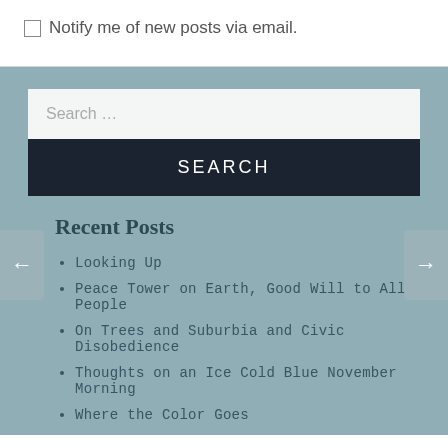Notify me of new posts via email.
Search …
SEARCH
Recent Posts
Looking Up
Peace Tower on Earth, Good Will to All People
On Trees and Suburbia and Civic Disobedience
Thoughts on an Ice Cold Blue November Morning
Where the Color Goes